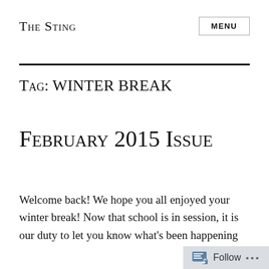The Sting
Tag: winter break
February 2015 Issue
Welcome back! We hope you all enjoyed your winter break! Now that school is in session, it is our duty to let you know what's been happening